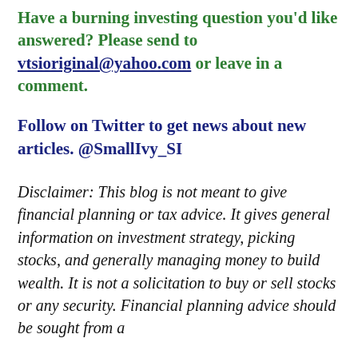Have a burning investing question you'd like answered?  Please send to vtsioriginal@yahoo.com or leave in a comment.
Follow on Twitter to get news about new articles.  @SmallIvy_SI
Disclaimer: This blog is not meant to give financial planning or tax advice.  It gives general information on investment strategy, picking stocks, and generally managing money to build wealth. It is not a solicitation to buy or sell stocks or any security. Financial planning advice should be sought from a